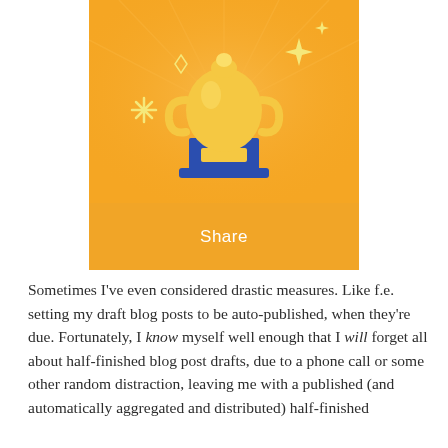[Figure (screenshot): A mobile app screenshot showing a trophy/award icon on an orange background with sparkle decorations and a 'Share' button below it.]
Sometimes I've even considered drastic measures. Like f.e. setting my draft blog posts to be auto-published, when they're due. Fortunately, I know myself well enough that I will forget all about half-finished blog post drafts, due to a phone call or some other random distraction, leaving me with a published (and automatically aggregated and distributed) half-finished